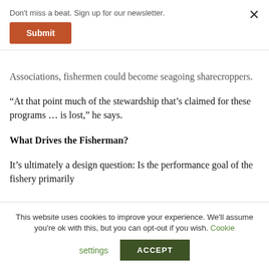Don't miss a beat. Sign up for our newsletter.
Submit
Associations, fishermen could become seagoing sharecroppers.
“At that point much of the stewardship that’s claimed for these programs … is lost,” he says.
What Drives the Fisherman?
It’s ultimately a design question: Is the performance goal of the fishery primarily
This website uses cookies to improve your experience. We'll assume you're ok with this, but you can opt-out if you wish. Cookie settings ACCEPT